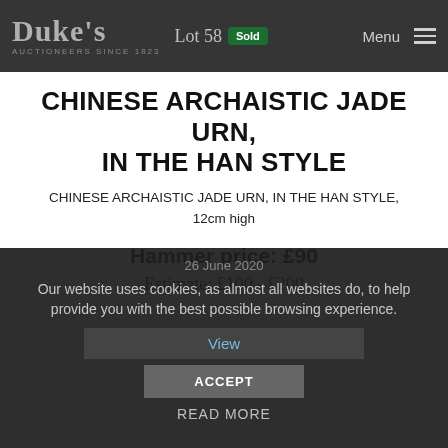Duke's Auctioneers Since 1823 — Lot 58 Sold — Menu
CHINESE ARCHAISTIC JADE URN, IN THE HAN STYLE
CHINESE ARCHAISTIC JADE URN, IN THE HAN STYLE, 12cm high
Hammer price: £90
Estimate: £100 - £200
26 June 2020
Our website uses cookies, as almost all websites do, to help provide you with the best possible browsing experience.
View
ACCEPT
READ MORE